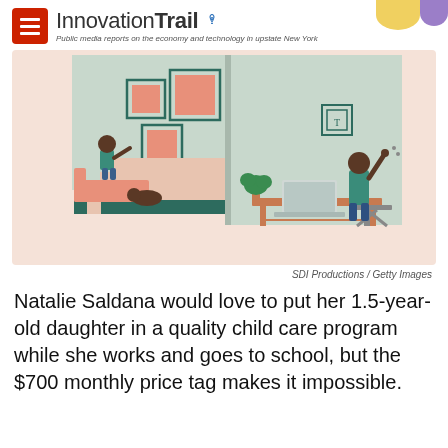InnovationTrail — Public media reports on the economy and technology in upstate New York
[Figure (illustration): Illustrated scene split into two rooms: on the left, two children play on stairs with framed art on the wall; on the right, a person sits at a desk working on a laptop with a plant nearby.]
SDI Productions / Getty Images
Natalie Saldana would love to put her 1.5-year-old daughter in a quality child care program while she works and goes to school, but the $700 monthly price tag makes it impossible.